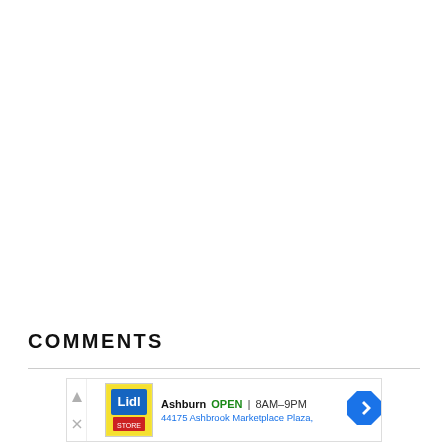COMMENTS
[Figure (infographic): Advertisement banner for Lidl store in Ashburn showing store open status, hours 8AM-9PM, and address 44175 Ashbrook Marketplace Plaza, with a navigation arrow icon and close/report ad controls.]